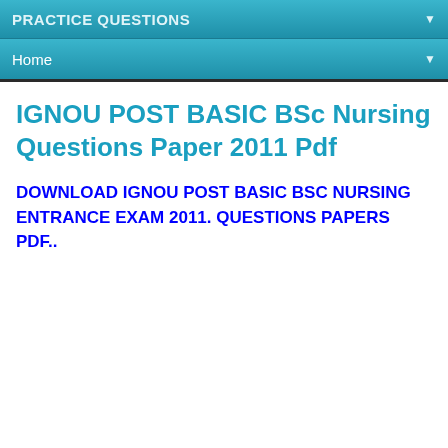PRACTICE QUESTIONS
Home
IGNOU POST BASIC BSc Nursing Questions Paper 2011 Pdf
DOWNLOAD IGNOU POST BASIC BSC NURSING ENTRANCE EXAM 2011. QUESTIONS PAPERS PDF..